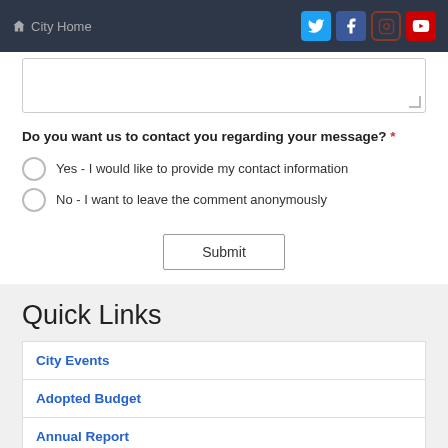City Home
Do you want us to contact you regarding your message? *
Yes - I would like to provide my contact information
No - I want to leave the comment anonymously
Submit
Quick Links
City Events
Adopted Budget
Annual Report